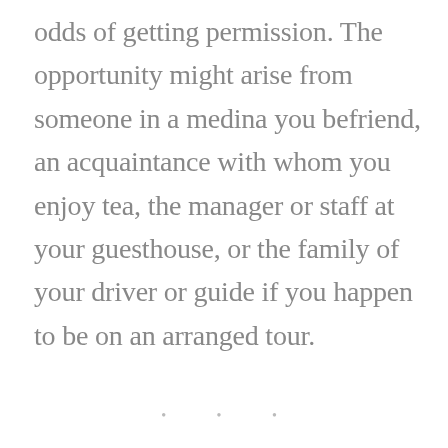odds of getting permission. The opportunity might arise from someone in a medina you befriend, an acquaintance with whom you enjoy tea, the manager or staff at your guesthouse, or the family of your driver or guide if you happen to be on an arranged tour.